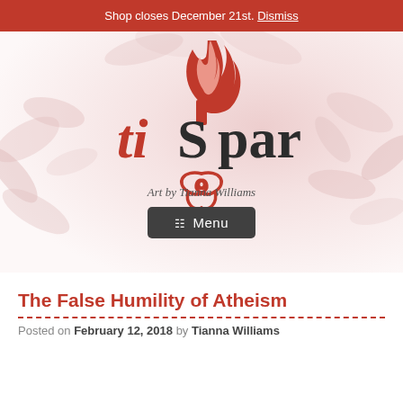Shop closes December 21st. Dismiss
[Figure (logo): TiSpark logo with flame and decorative swirl, on a soft floral background. Text reads 'tispark' with the S stylized as a spark/flame.]
Art by Tianna Williams
Menu
The False Humility of Atheism
Posted on February 12, 2018 by Tianna Williams